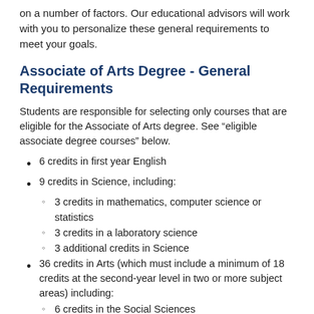on a number of factors. Our educational advisors will work with you to personalize these general requirements to meet your goals.
Associate of Arts Degree - General Requirements
Students are responsible for selecting only courses that are eligible for the Associate of Arts degree. See “eligible associate degree courses” below.
6 credits in first year English
9 credits in Science, including:
3 credits in mathematics, computer science or statistics
3 credits in a laboratory science
3 additional credits in Science
36 credits in Arts (which must include a minimum of 18 credits at the second-year level in two or more subject areas) including:
6 credits in the Social Sciences